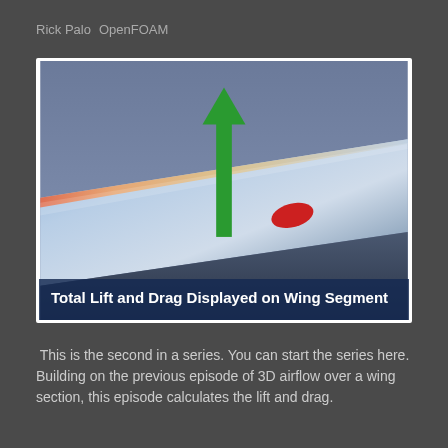Rick Palo   OpenFOAM
[Figure (illustration): 3D rendering of airflow and forces on a wing segment. A green upward arrow represents lift force. A small red shape near the wing surface represents drag. The wing surface is shown in blue/silver with gradient shading. Caption overlay reads: Total Lift and Drag Displayed on Wing Segment]
Total Lift and Drag Displayed on Wing Segment
This is the second in a series. You can start the series here. Building on the previous episode of 3D airflow over a wing section, this episode calculates the lift and drag.
Continue reading